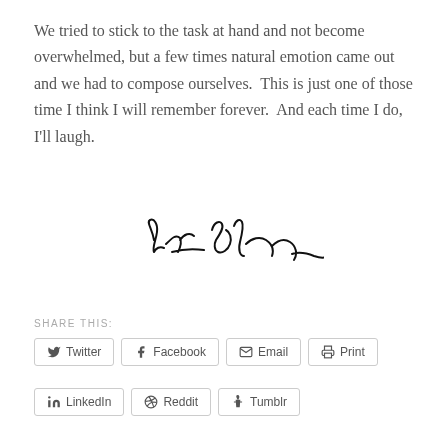We tried to stick to the task at hand and not become overwhelmed, but a few times natural emotion came out and we had to compose ourselves.  This is just one of those time I think I will remember forever.  And each time I do, I'll laugh.
[Figure (illustration): Handwritten cursive signature]
SHARE THIS:
Twitter
Facebook
Email
Print
LinkedIn
Reddit
Tumblr